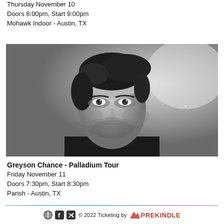Thursday November 10
Doors 8:00pm, Start 9:00pm
Mohawk Indoor - Austin, TX
[Figure (photo): Black and white portrait photo of Greyson Chance, a young man with dark swept-back hair and a beard, wearing a black turtleneck, looking directly at the camera with a blurred light background.]
Greyson Chance - Palladium Tour
Friday November 11
Doors 7:30pm, Start 8:30pm
Parish - Austin, TX
© 2022 Ticketing by PREKINDLE